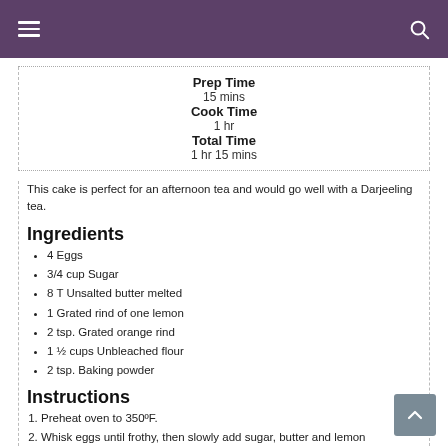Prep Time
15 mins
Cook Time
1 hr
Total Time
1 hr 15 mins
This cake is perfect for an afternoon tea and would go well with a Darjeeling tea.
Ingredients
4 Eggs
3/4 cup Sugar
8 T Unsalted butter melted
1 Grated rind of one lemon
2 tsp. Grated orange rind
1 ½ cups Unbleached flour
2 tsp. Baking powder
Instructions
Preheat oven to 350ºF.
Whisk eggs until frothy, then slowly add sugar, butter and lemon